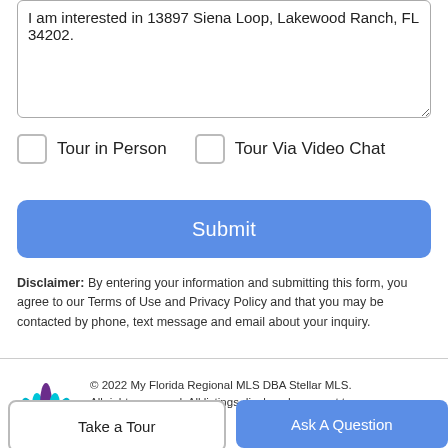I am interested in 13897 Siena Loop, Lakewood Ranch, FL 34202.
Tour in Person
Tour Via Video Chat
Submit
Disclaimer: By entering your information and submitting this form, you agree to our Terms of Use and Privacy Policy and that you may be contacted by phone, text message and email about your inquiry.
[Figure (logo): Stellar MLS logo — purple and teal leaf/flame design]
© 2022 My Florida Regional MLS DBA Stellar MLS. All rights reserved. All listings displayed pursuant to
Take a Tour
Ask A Question